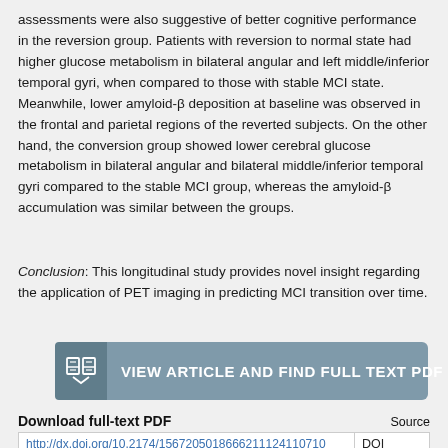assessments were also suggestive of better cognitive performance in the reversion group. Patients with reversion to normal state had higher glucose metabolism in bilateral angular and left middle/inferior temporal gyri, when compared to those with stable MCI state. Meanwhile, lower amyloid-β deposition at baseline was observed in the frontal and parietal regions of the reverted subjects. On the other hand, the conversion group showed lower cerebral glucose metabolism in bilateral angular and bilateral middle/inferior temporal gyri compared to the stable MCI group, whereas the amyloid-β accumulation was similar between the groups.
Conclusion: This longitudinal study provides novel insight regarding the application of PET imaging in predicting MCI transition over time.
[Figure (other): Button labeled VIEW ARTICLE AND FIND FULL TEXT PDF with a book/document icon on the left, grey-blue background]
| Download full-text PDF | Source |
| --- | --- |
| http://dx.doi.org/10.2174/1567205018666211124110710 | DOI Listing |